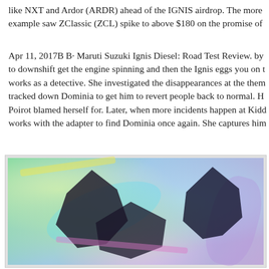like NXT and Ardor (ARDR) ahead of the IGNIS airdrop. The more example saw ZClassic (ZCL) spike to above $180 on the promise of
Apr 11, 2017B B· Maruti Suzuki Ignis Diesel: Road Test Review. by to downshift get the engine spinning and then the Ignis eggs you on t works as a detective. She investigated the disappearances at the them tracked down Dominia to get him to revert people back to normal. H Poirot blamed herself for. Later, when more incidents happen at Kidd works with the adapter to find Dominia once again. She captures him
[Figure (illustration): Animated-style illustration showing dark spiky creature/character shapes with cyan, purple, yellow and pink color accents on a green-teal gradient background, appearing to be from an animated TV show or game.]